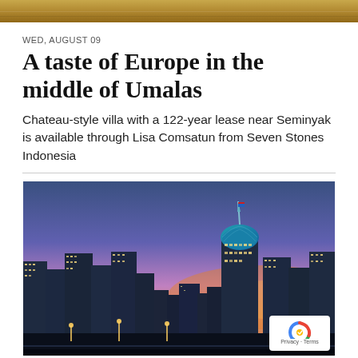[Figure (photo): Top decorative image strip with golden/warm tones]
WED, AUGUST 09
A taste of Europe in the middle of Umalas
Chateau-style villa with a 122-year lease near Seminyak is available through Lisa Comsatun from Seven Stones Indonesia
[Figure (photo): City skyline at dusk/sunset with tall skyscrapers and city lights, Jakarta skyline with blue dome building prominent]